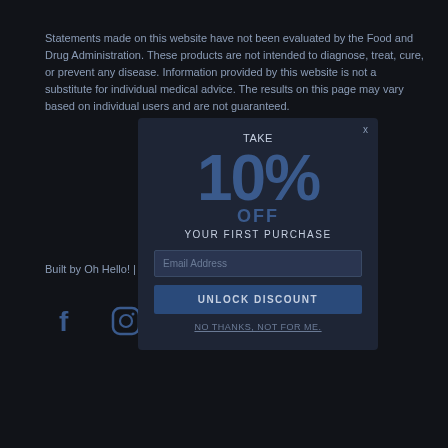Statements made on this website have not been evaluated by the Food and Drug Administration. These products are not intended to diagnose, treat, cure, or prevent any disease. Information provided by this website is not a substitute for individual medical advice. The results on this page may vary based on individual users and are not guaranteed.
Built by Oh Hello! | A Brand Innovation Lab
[Figure (other): Facebook and Instagram social media icons in muted blue color]
[Figure (infographic): Popup overlay with discount offer: TAKE 10% OFF YOUR FIRST PURCHASE, with email address input field, UNLOCK DISCOUNT button, and NO THANKS, NOT FOR ME. dismiss link. A close X is at the top right.]